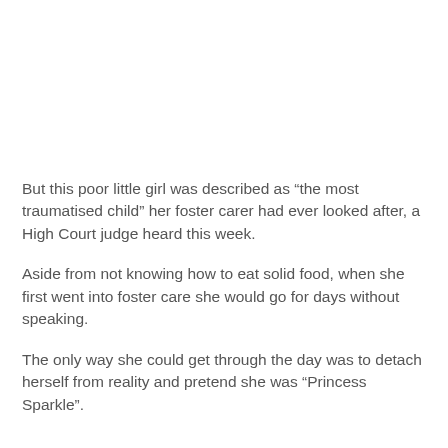But this poor little girl was described as “the most traumatised child” her foster carer had ever looked after, a High Court judge heard this week.
Aside from not knowing how to eat solid food, when she first went into foster care she would go for days without speaking.
The only way she could get through the day was to detach herself from reality and pretend she was “Princess Sparkle”.